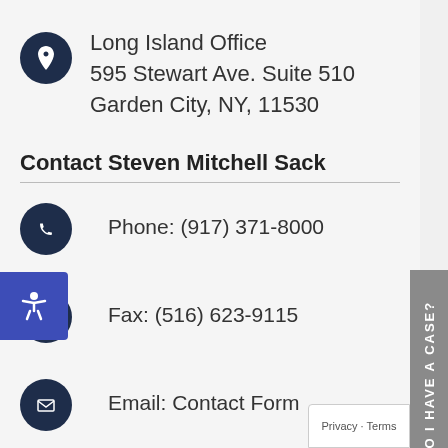Long Island Office
595 Stewart Ave. Suite 510
Garden City, NY, 11530
Contact Steven Mitchell Sack
Phone: (917) 371-8000
Fax: (516) 623-9115
Email: Contact Form
Connect
Facebook